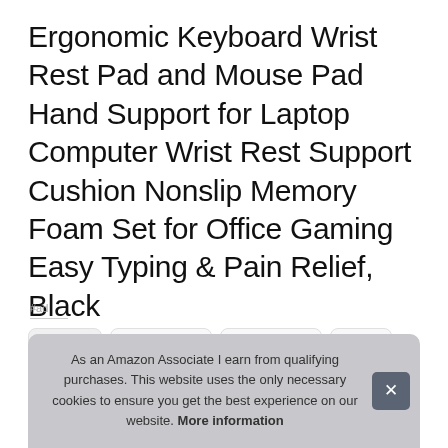Ergonomic Keyboard Wrist Rest Pad and Mouse Pad Hand Support for Laptop Computer Wrist Rest Support Cushion Nonslip Memory Foam Set for Office Gaming Easy Typing & Pain Relief, Black
#ad
[Figure (photo): Thumbnail images of product shown in a horizontal row]
As an Amazon Associate I earn from qualifying purchases. This website uses the only necessary cookies to ensure you get the best experience on our website. More information